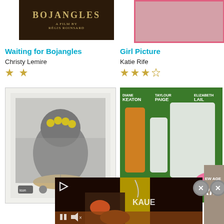[Figure (photo): Movie poster for Waiting for Bojangles - dark background with gold text 'BOJANGLES' and subtitle 'A FILM BY RÉGIS ROINSARD']
[Figure (photo): Movie poster for Girl Picture - pink border with image of figures]
Waiting for Bojangles
Christy Lemire
★★ (2 stars)
Girl Picture
Katie Rife
★★★½ (3.5 stars)
[Figure (photo): Black and white illustration of a figure reading a book, with yellow flowers over the face area, Polaroid-style frame]
[Figure (photo): Movie poster featuring Diane Keaton, Taylour Paige, and Elizabeth Lail in colorful summer scene]
[Figure (photo): Video overlay advertisement showing food/cooking scene with yellow outfit figure, play controls visible]
[Figure (photo): Partial movie poster visible with text 'EW AGE' and 'Rita' overlapping]
✕ (close button)
✕ (close button 2)